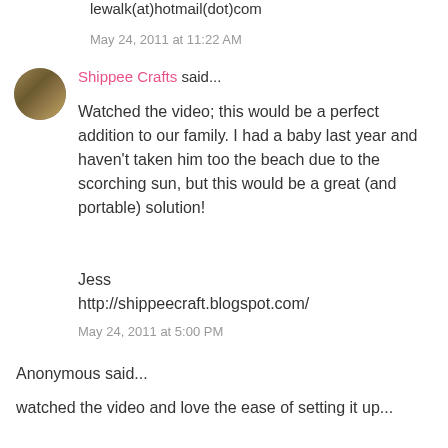lewalk(at)hotmail(dot)com
May 24, 2011 at 11:22 AM
Shippee Crafts said...
Watched the video; this would be a perfect addition to our family. I had a baby last year and haven't taken him too the beach due to the scorching sun, but this would be a great (and portable) solution!

Jess
http://shippeecraft.blogspot.com/
May 24, 2011 at 5:00 PM
Anonymous said...
watched the video and love the ease of setting it up...